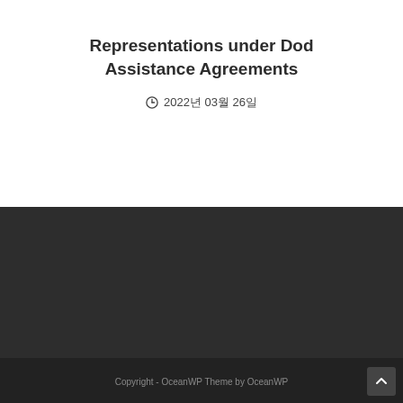Representations under Dod Assistance Agreements
2022年 03月 26日
Copyright - OceanWP Theme by OceanWP